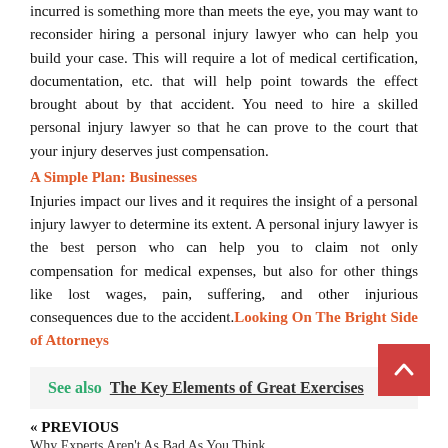incurred is something more than meets the eye, you may want to reconsider hiring a personal injury lawyer who can help you build your case. This will require a lot of medical certification, documentation, etc. that will help point towards the effect brought about by that accident. You need to hire a skilled personal injury lawyer so that he can prove to the court that your injury deserves just compensation.
A Simple Plan: Businesses
Injuries impact our lives and it requires the insight of a personal injury lawyer to determine its extent. A personal injury lawyer is the best person who can help you to claim not only compensation for medical expenses, but also for other things like lost wages, pain, suffering, and other injurious consequences due to the accident. Looking On The Bright Side of Attorneys
See also  The Key Elements of Great Exercises
« PREVIOUS
Why Experts Aren't As Bad As You Think